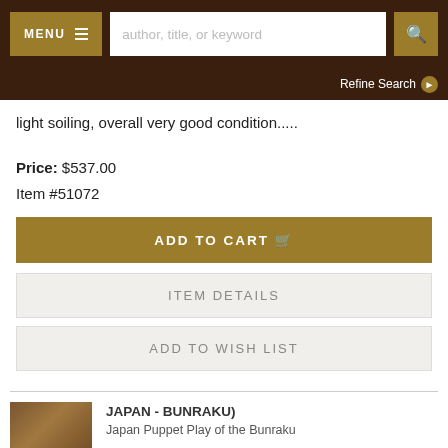MENU  [search bar: author, title, or keyword]  [search icon]
Refine Search
light soiling, overall very good condition.....
Price: $537.00
Item #51072
ADD TO CART
ITEM DETAILS
ADD TO WISH LIST
JAPAN - BUNRAKU)
Japan Puppet Play of the Bunraku